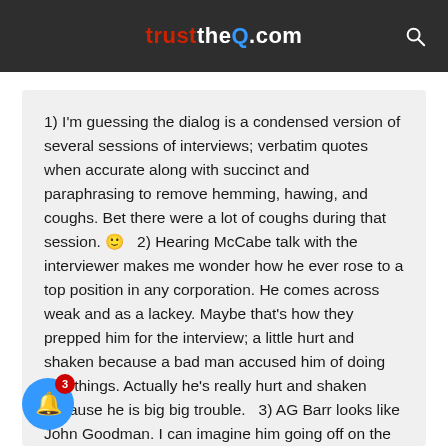trusttheQ.com
1) I'm guessing the dialog is a condensed version of several sessions of interviews; verbatim quotes when accurate along with succinct and paraphrasing to remove hemming, hawing, and coughs. Bet there were a lot of coughs during that session. 🙂  2) Hearing McCabe talk with the interviewer makes me wonder how he ever rose to a top position in any corporation. He comes across weak and as a lackey. Maybe that's how they prepped him for the interview; a little hurt and shaken because a bad man accused him of doing bad things. Actually he's really hurt and shaken because he is big big trouble.   3) AG Barr looks like John Goodman. I can imagine him going off on the black hats.